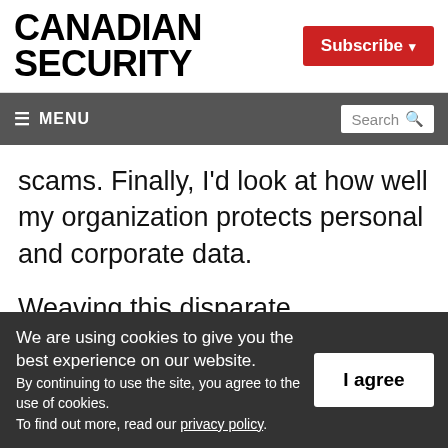CANADIAN SECURITY
scams. Finally, I'd look at how well my organization protects personal and corporate data.
Weaving this disparate information into a business report is the real art. It's tricky. You
We are using cookies to give you the best experience on our website. By continuing to use the site, you agree to the use of cookies. To find out more, read our privacy policy.